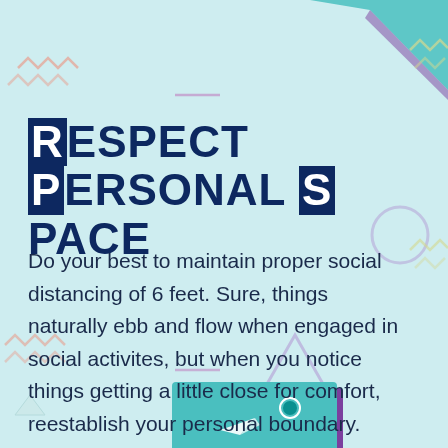[Figure (illustration): Light-blue background infographic page with decorative geometric shapes: teal triangle top-right, zigzag lines, circles, triangles, small rectangles scattered as background elements. Bottom shows a partial illustration of a person with arrows indicating distance/space.]
Respect Personal Space
Do your best to maintain proper social distancing of 6 feet. Sure, things naturally ebb and flow when engaged in social activites, but when you notice things getting a little close for comfort, reestablish your personal boundary.